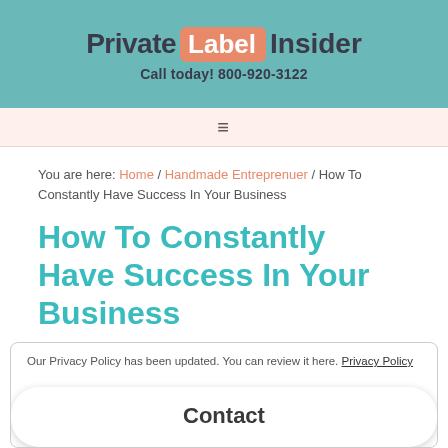Private Label Insider - Call today! 800-920-3122
You are here: Home / Handmade Entreprenuer / How To Constantly Have Success In Your Business
How To Constantly Have Success In Your Business
By Melody  Leave a Comment
Our Privacy Policy has been updated. You can review it here. Privacy Policy
Contact